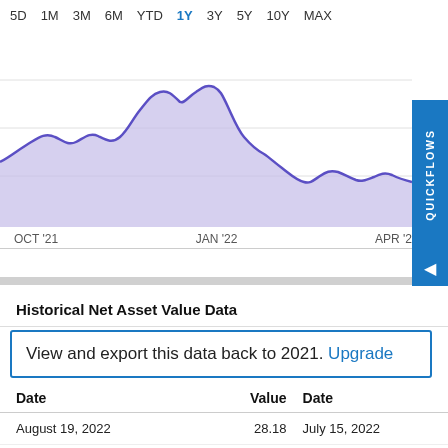[Figure (area-chart): Area chart showing historical NAV from approximately July 2021 to April 2022, peaking around late 2021 then declining sharply into 2022.]
Historical Net Asset Value Data
View and export this data back to 2021. Upgrade
| Date | Value | Date |
| --- | --- | --- |
| August 19, 2022 | 28.18 | July 15, 2022 |
| August 18, 2022 | 28.61 | July 14, 2022 |